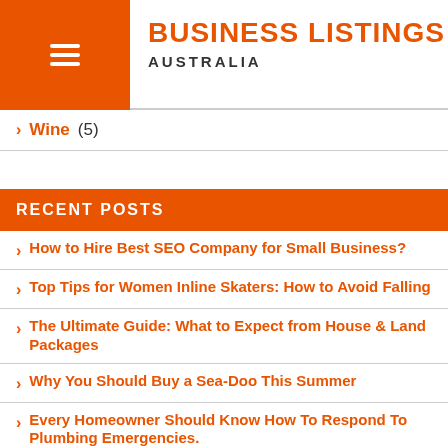Business Listings Australia
Wine (5)
RECENT POSTS
How to Hire Best SEO Company for Small Business?
Top Tips for Women Inline Skaters: How to Avoid Falling
The Ultimate Guide: What to Expect from House & Land Packages
Why You Should Buy a Sea-Doo This Summer
Every Homeowner Should Know How To Respond To Plumbing Emergencies.
Why Is Demand for Hyundai Automobiles Growing?
Mistakes To Avoid During Group Tours To Canada